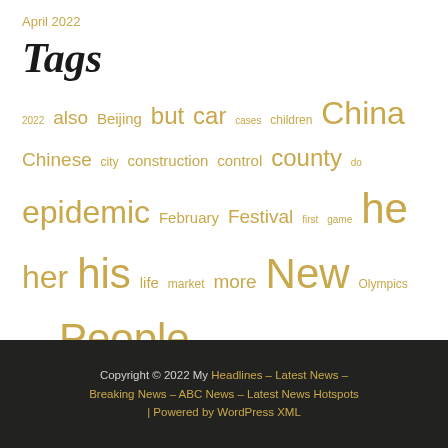April 2022
Tags
2022 also Beijing but car cases children China Chinese city construction control county do epidemic February Festival first game he her his life market more New Olympics Party People police prevention price road she snow Spring team their time was will Winter work Year yuan
Copyright © 2022 My Headlines – Latest News – Breaking News – ABC News – Latest News Hotspots | Powered by WordPress XML